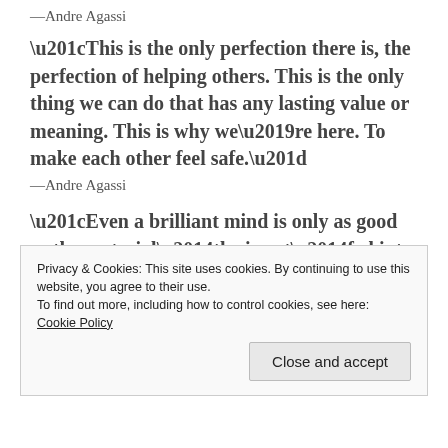—Andre Agassi
“This is the only perfection there is, the perfection of helping others. This is the only thing we can do that has any lasting value or meaning. This is why we’re here. To make each other feel safe.”
—Andre Agassi
“Even a brilliant mind is only as good as the material—the input—fed into it.”
—Robert Caro
“The one universal constant in all of your failed
Privacy & Cookies: This site uses cookies. By continuing to use this website, you agree to their use.
To find out more, including how to control cookies, see here: Cookie Policy
Close and accept